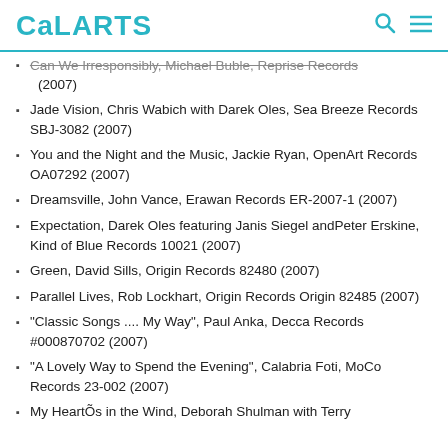CalARTS
Can We Irresponsibly, Michael Buble, Reprise Records (2007)
Jade Vision, Chris Wabich with Darek Oles, Sea Breeze Records SBJ-3082 (2007)
You and the Night and the Music, Jackie Ryan, OpenArt Records OA07292 (2007)
Dreamsville, John Vance, Erawan Records ER-2007-1 (2007)
Expectation, Darek Oles featuring Janis Siegel andPeter Erskine, Kind of Blue Records 10021 (2007)
Green, David Sills, Origin Records 82480 (2007)
Parallel Lives, Rob Lockhart, Origin Records Origin 82485 (2007)
"Classic Songs .... My Way", Paul Anka, Decca Records #000870702 (2007)
"A Lovely Way to Spend the Evening", Calabria Foti, MoCo Records 23-002 (2007)
My HeartÕs in the Wind, Deborah Shulman with Terry